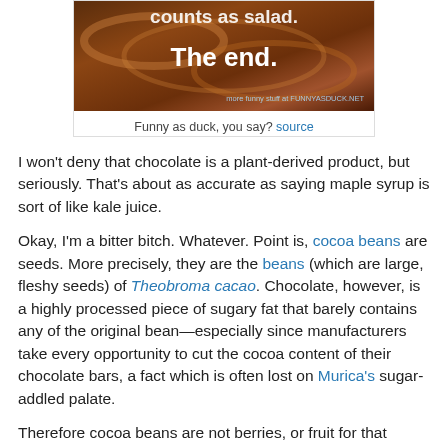[Figure (photo): Photo of swirling melted chocolate with white text overlay reading 'counts as salad.' and 'The end.' with a watermark 'more funny stuff at FUNNYASDUCK.NET']
Funny as duck, you say? source
I won't deny that chocolate is a plant-derived product, but seriously. That's about as accurate as saying maple syrup is sort of like kale juice.
Okay, I'm a bitter bitch. Whatever. Point is, cocoa beans are seeds. More precisely, they are the beans (which are large, fleshy seeds) of Theobroma cacao. Chocolate, however, is a highly processed piece of sugary fat that barely contains any of the original bean—especially since manufacturers take every opportunity to cut the cocoa content of their chocolate bars, a fact which is often lost on Murica's sugar-addled palate.
Therefore cocoa beans are not berries, or fruit for that matter, but seeds. The inedible pods are the fruits. And until humans evolve to be able to digest cocoa pods, chocolate